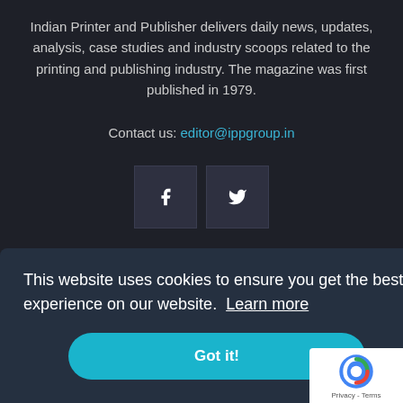Indian Printer and Publisher delivers daily news, updates, analysis, case studies and industry scoops related to the printing and publishing industry. The magazine was first published in 1979.
Contact us: editor@ippgroup.in
[Figure (other): Social media icons: Facebook (f) and Twitter (bird) in dark square boxes]
POPULAR POSTS
This website uses cookies to ensure you get the best experience on our website. Learn more
Got it!